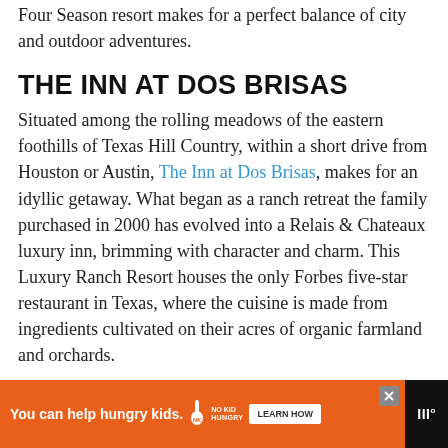Four Season resort makes for a perfect balance of city and outdoor adventures.
THE INN AT DOS BRISAS
Situated among the rolling meadows of the eastern foothills of Texas Hill Country, within a short drive from Houston or Austin, The Inn at Dos Brisas, makes for an idyllic getaway. What began as a ranch retreat the family purchased in 2000 has evolved into a Relais & Chateaux luxury inn, brimming with character and charm. This Luxury Ranch Resort houses the only Forbes five-star restaurant in Texas, where the cuisine is made from ingredients cultivated on their acres of organic farmland and orchards.
[Figure (other): UI overlay buttons: heart/save button (dark gray rounded square) and share button (light green circle with share icon)]
[Figure (other): Advertisement bar: orange background with 'You can help hungry kids.' text, No Kid Hungry logo, Learn How button, close X button, and site logo on dark background]